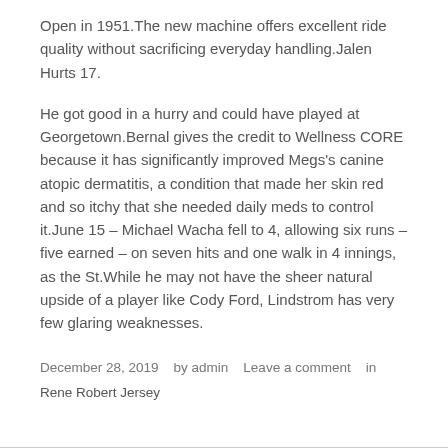Open in 1951.The new machine offers excellent ride quality without sacrificing everyday handling.Jalen Hurts 17.
He got good in a hurry and could have played at Georgetown.Bernal gives the credit to Wellness CORE because it has significantly improved Megs's canine atopic dermatitis, a condition that made her skin red and so itchy that she needed daily meds to control it.June 15 – Michael Wacha fell to 4, allowing six runs – five earned – on seven hits and one walk in 4 innings, as the St.While he may not have the sheer natural upside of a player like Cody Ford, Lindstrom has very few glaring weaknesses.
December 28, 2019   by admin   Leave a comment   in
Rene Robert Jersey